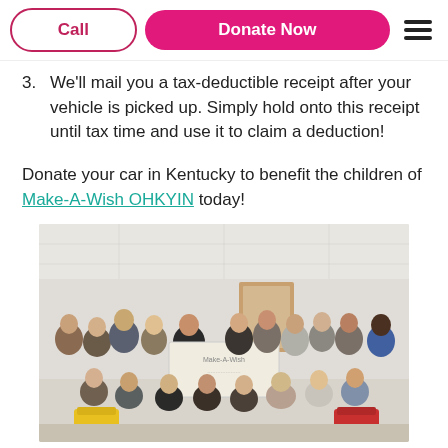Call | Donate Now
3. We'll mail you a tax-deductible receipt after your vehicle is picked up. Simply hold onto this receipt until tax time and use it to claim a deduction!
Donate your car in Kentucky to benefit the children of Make-A-Wish OHKYIN today!
[Figure (photo): Group photo of approximately 20 people in an office/community room holding a large ceremonial check, with yellow and red chairs visible in the foreground.]